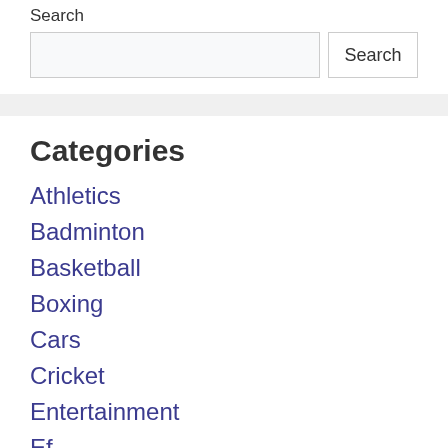Search
Search input box with Search button
Categories
Athletics
Badminton
Basketball
Boxing
Cars
Cricket
Entertainment
Ef...